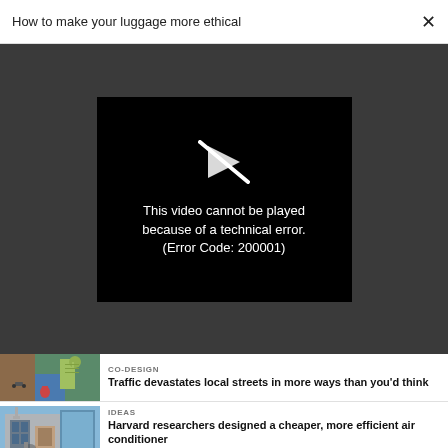How to make your luggage more ethical  ✕
[Figure (screenshot): Video player showing error message: 'This video cannot be played because of a technical error. (Error Code: 200001)' with a broken play icon on black background, set against dark gray background]
CO-DESIGN
Traffic devastates local streets in more ways than you'd think
IDEAS
Harvard researchers designed a cheaper, more efficient air conditioner